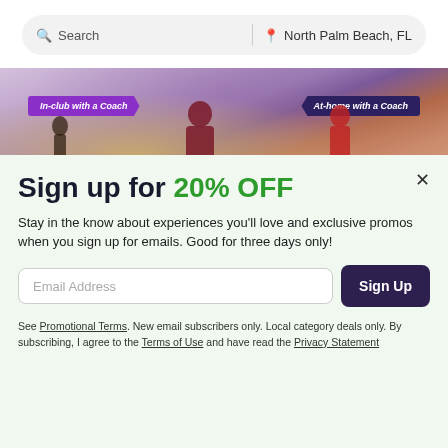[Figure (screenshot): Website header with search bar showing 'Search' on the left and 'North Palm Beach, FL' location on the right, with a fitness/exercise banner image below showing people exercising with labels 'In-club with a Coach' and 'At-home with a Coach']
Sign up for 20% OFF
Stay in the know about experiences you'll love and exclusive promos when you sign up for emails. Good for three days only!
Email Address
See Promotional Terms. New email subscribers only. Local category deals only. By subscribing, I agree to the Terms of Use and have read the Privacy Statement